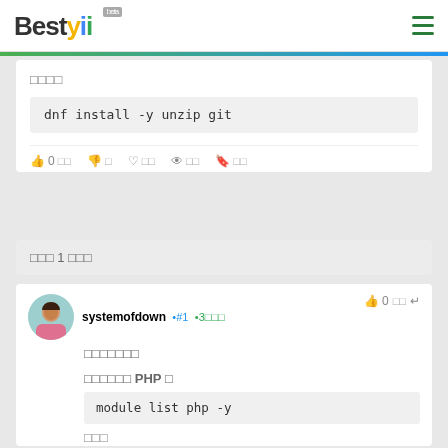Bestyii beta
□□□□
dnf install -y unzip git
👍 0 □□ 👎 □ ♡ □□ 👁 □□ 🔖 □□
□□□ 1 □□□
systemofdown #1 •3□□□  👍 0 □□ ↩
□□□□□□□
□□□□□□ PHP □
module list php -y
□□□